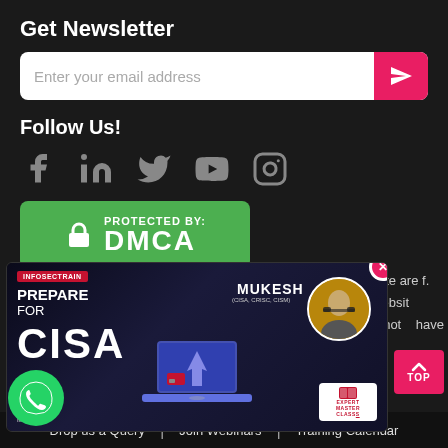Get Newsletter
Enter your email address
Follow Us!
[Figure (logo): DMCA Protected By badge, green background with lock icon and DMCA text]
[Figure (screenshot): Popup advertisement for CISA certification course by Mukesh (CISA, CRISC, CISM), with Expert Master Class badge. Features laptop graphic and avatar photo of instructor.]
r website are f. This websit. may not have been owner. The names,
Drop us a Query  |  Join Webinars  |  Training Calendar